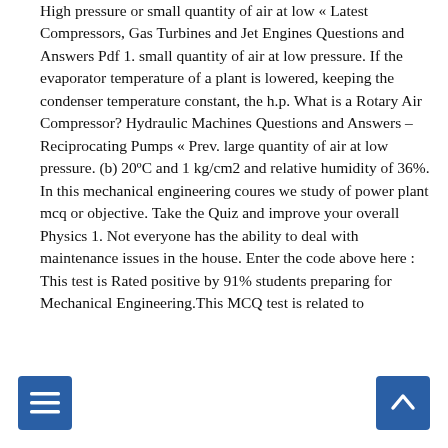High pressure or small quantity of air at low « Latest Compressors, Gas Turbines and Jet Engines Questions and Answers Pdf 1. small quantity of air at low pressure. If the evaporator temperature of a plant is lowered, keeping the condenser temperature constant, the h.p. What is a Rotary Air Compressor? Hydraulic Machines Questions and Answers – Reciprocating Pumps « Prev. large quantity of air at low pressure. (b) 20ºC and 1 kg/cm2 and relative humidity of 36%. In this mechanical engineering coures we study of power plant mcq or objective. Take the Quiz and improve your overall Physics 1. Not everyone has the ability to deal with maintenance issues in the house. Enter the code above here : This test is Rated positive by 91% students preparing for Mechanical Engineering.This MCQ test is related to